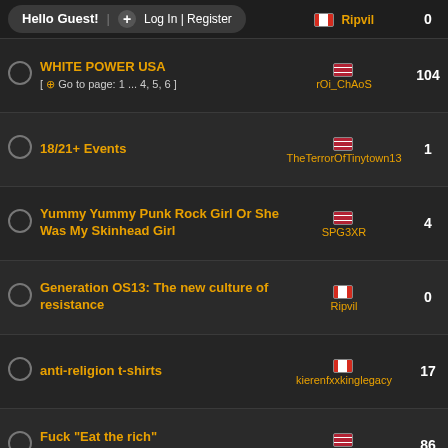Hello Guest! | Log In | Register | Ripvil | 0
WHITE POWER USA [ Go to page: 1 ... 4, 5, 6 ] | rOi_ChAoS | 104
18/21+ Events | TheTerrorOfTinytown13 | 1
Yummy Yummy Punk Rock Girl Or She Was My Skinhead Girl | SPG3XR | 4
Generation OS13: The new culture of resistance | Ripvil | 0
anti-religion t-shirts | kierenfxxkinglegacy | 17
Fuck "Eat the rich" [ Go to page: 1, 2, 3, 4, 5 ] | BobbyY | 86
You may no longer dance, America | Ripvil | 1
WHAT DO YOU DO? | BENJA#28 | 1
"Death of Osama Bin Laden" | rAt | 8
Where is your happy place | coachbags | 12
MANCHESTER CITY FA CUP CHAMPIONS | fitter john | 0